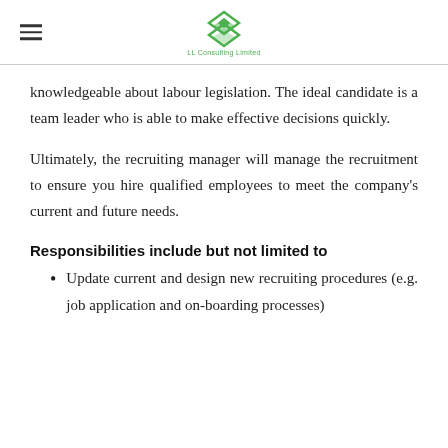LL Consulting Limited
knowledgeable about labour legislation. The ideal candidate is a team leader who is able to make effective decisions quickly.
Ultimately, the recruiting manager will manage the recruitment to ensure you hire qualified employees to meet the company's current and future needs.
Responsibilities include but not limited to
Update current and design new recruiting procedures (e.g. job application and on-boarding processes)